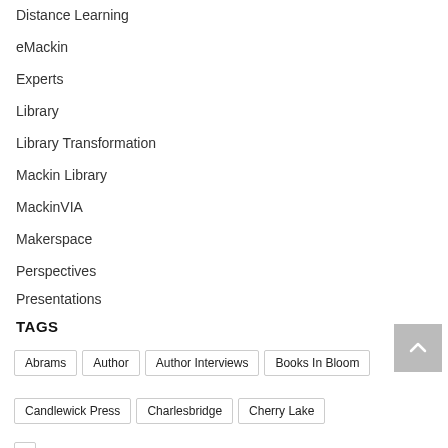Distance Learning
eMackin
Experts
Library
Library Transformation
Mackin Library
MackinVIA
Makerspace
Perspectives
Presentations
TAGS
Abrams
Author
Author Interviews
Books In Bloom
Candlewick Press
Charlesbridge
Cherry Lake